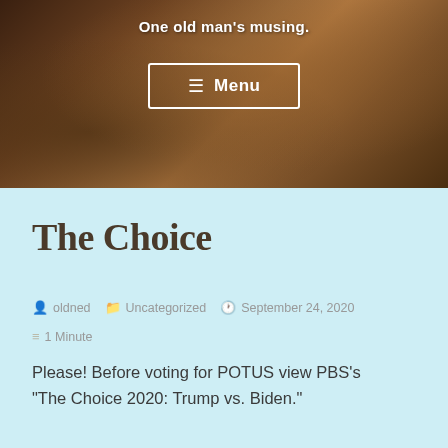One old man's musing.
[Figure (screenshot): Menu navigation button with hamburger icon on dark brown wood-texture background]
The Choice
oldned  Uncategorized  September 24, 2020  1 Minute
Please!  Before voting for POTUS view PBS's “The Choice 2020: Trump vs. Biden.”